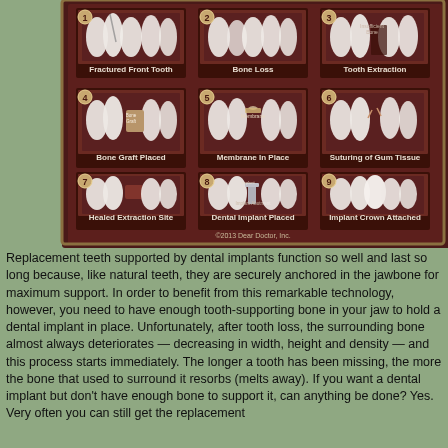[Figure (infographic): Dental implant procedure infographic showing 9 steps: 1-Fractured Front Tooth, 2-Bone Loss, 3-Tooth Extraction, 4-Bone Graft Placed, 5-Membrane In Place, 6-Suturing of Gum Tissue, 7-Healed Extraction Site, 8-Dental Implant Placed, 9-Implant Crown Attached. Copyright 2013 Dear Doctor, Inc.]
Replacement teeth supported by dental implants function so well and last so long because, like natural teeth, they are securely anchored in the jawbone for maximum support. In order to benefit from this remarkable technology, however, you need to have enough tooth-supporting bone in your jaw to hold a dental implant in place. Unfortunately, after tooth loss, the surrounding bone almost always deteriorates — decreasing in width, height and density — and this process starts immediately. The longer a tooth has been missing, the more the bone that used to surround it resorbs (melts away). If you want a dental implant but don't have enough bone to support it, can anything be done? Yes. Very often you can still get the replacement